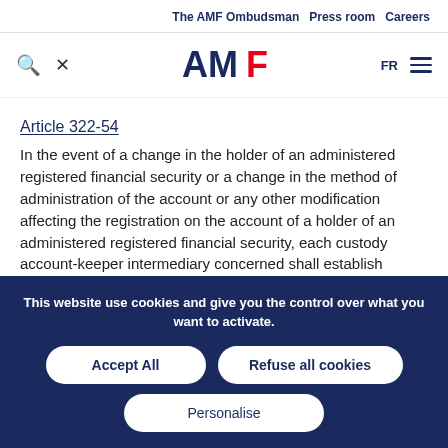The AMF Ombudsman   Press room   Careers
[Figure (logo): AMF logo with search icon, tools icon, FR language selector and hamburger menu]
Article 322-54
In the event of a change in the holder of an administered registered financial security or a change in the method of administration of the account or any other modification affecting the registration on the account of a holder of an administered registered financial security, each custody account-keeper intermediary concerned shall establish
This website use cookies and give you the control over what you want to activate.
Accept All   Refuse all cookies   Personalise